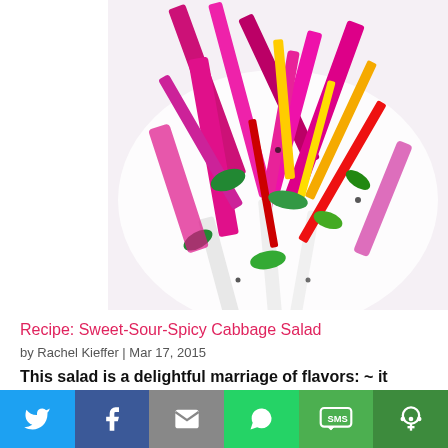[Figure (photo): Close-up photo of a colorful Sweet-Sour-Spicy Cabbage Salad on a white plate, featuring purple/pink cabbage strips, yellow and red pepper strips, and green cilantro leaves.]
Recipe: Sweet-Sour-Spicy Cabbage Salad
by Rachel Kieffer | Mar 17, 2015
This salad is a delightful marriage of flavors: ~ it
[Figure (infographic): Social sharing bar with six buttons: Twitter (blue), Facebook (dark blue), Email (gray), WhatsApp (green), SMS (green), More (dark green)]